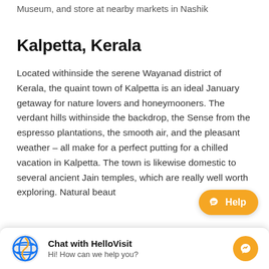Museum, and store at nearby markets in Nashik
Kalpetta, Kerala
Located withinside the serene Wayanad district of Kerala, the quaint town of Kalpetta is an ideal January getaway for nature lovers and honeymooners. The verdant hills withinside the backdrop, the Sense from the espresso plantations, the smooth air, and the pleasant weather – all make for a perfect putting for a chilled vacation in Kalpetta. The town is likewise domestic to several ancient Jain temples, which are really well worth exploring. Natural beauty are sure to woo your senses.
[Figure (screenshot): Chat widget overlay: 'Chat with HelloVisit / Hi! How can we help you?' with messenger icon and a yellow Help button]
are sure to woo your senses.